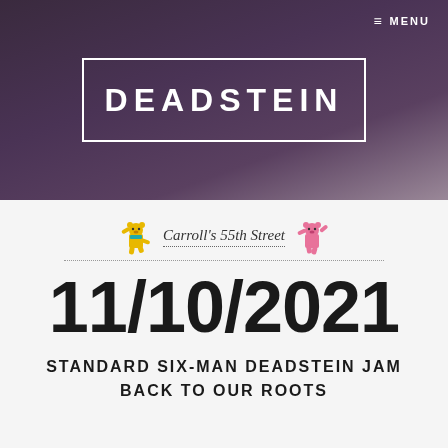≡ MENU
DEADSTEIN
Carroll's 55th Street
11/10/2021
STANDARD SIX-MAN DEADSTEIN JAM BACK TO OUR ROOTS